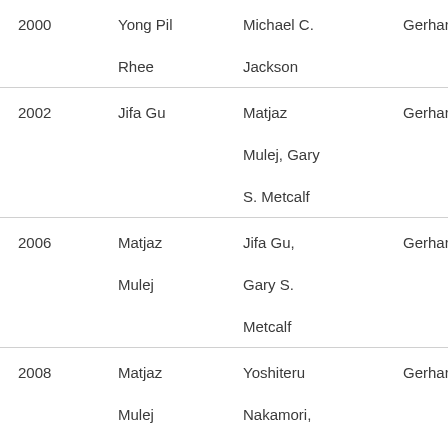| 2000 | Yong Pil Rhee | Michael C. Jackson | Gerhard Chro… |
| 2002 | Jifa Gu | Matjaz Mulej, Gary S. Metcalf | Gerhard Chro… |
| 2006 | Matjaz Mulej | Jifa Gu, Gary S. Metcalf | Gerhard Chro… |
| 2008 | Matjaz Mulej | Yoshiteru Nakamori, Gary S. Metcalf… | Gerhard Chro… |